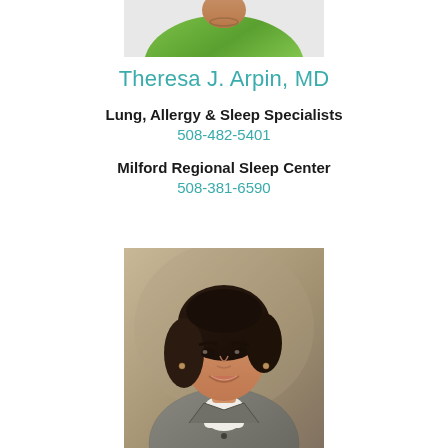[Figure (photo): Partial photo of a person in a green top, cropped at top of page]
Theresa J. Arpin, MD
Lung, Allergy & Sleep Specialists
508-482-5401
Milford Regional Sleep Center
508-381-6590
[Figure (photo): Professional headshot of a woman with short dark hair, smiling, wearing a blazer over a white turtleneck]